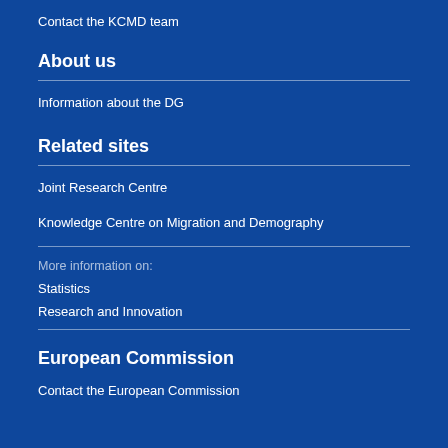Contact the KCMD team
About us
Information about the DG
Related sites
Joint Research Centre
Knowledge Centre on Migration and Demography
More information on:
Statistics
Research and Innovation
European Commission
Contact the European Commission